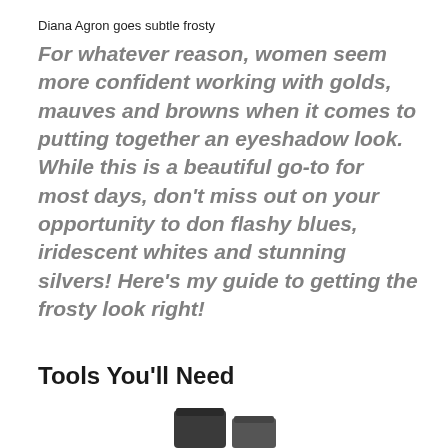Diana Agron goes subtle frosty
For whatever reason, women seem more confident working with golds, mauves and browns when it comes to putting together an eyeshadow look. While this is a beautiful go-to for most days, don't miss out on your opportunity to don flashy blues, iridescent whites and stunning silvers! Here's my guide to getting the frosty look right!
Tools You'll Need
[Figure (photo): Product image showing makeup items (dark cylindrical containers) at bottom of page]